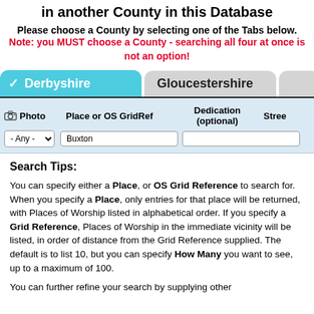in another County in this Database
Please choose a County by selecting one of the Tabs below.
Note: you MUST choose a County - searching all four at once is not an option!
[Figure (screenshot): Tab bar with Derbyshire (active, teal) and Gloucestershire (inactive, grey) county selection tabs]
| Photo | Place or OS GridRef | Dedication (optional) | Stree... |
| --- | --- | --- | --- |
| - Any - | Buxton |  |  |
Search Tips:
You can specify either a Place, or OS Grid Reference to search for. When you specify a Place, only entries for that place will be returned, with Places of Worship listed in alphabetical order. If you specify a Grid Reference, Places of Worship in the immediate vicinity will be listed, in order of distance from the Grid Reference supplied. The default is to list 10, but you can specify How Many you want to see, up to a maximum of 100.
You can further refine your search by supplying other